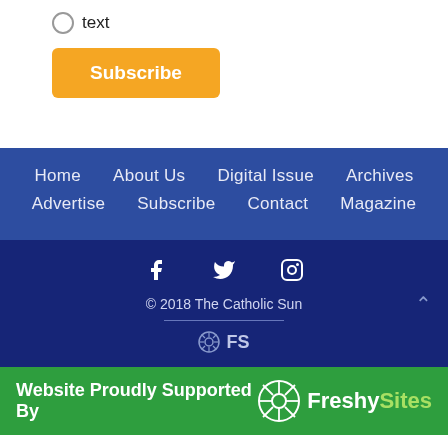text
Subscribe
Home  About Us  Digital Issue  Archives  Advertise  Subscribe  Contact  Magazine
© 2018 The Catholic Sun  FS
Website Proudly Supported By FreshySites